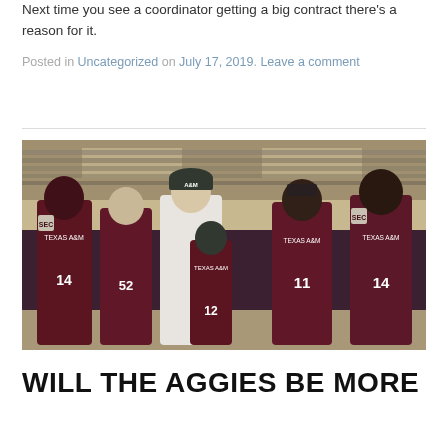Next time you see a coordinator getting a big contract there's a reason for it.
Posted in Uncategorized on July 17, 2019. Leave a comment
[Figure (photo): Texas A&M football players in maroon jerseys (numbers 14, 52, 11, 14, 12) posing with a coach in a white shirt at a stadium]
WILL THE AGGIES BE MORE